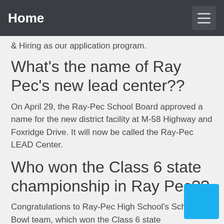Home
& Hiring as our application program.
What's the name of Ray Pec's new lead center??
On April 29, the Ray-Pec School Board approved a name for the new district facility at M-58 Highway and Foxridge Drive. It will now be called the Ray-Pec LEAD Center.
Who won the Class 6 state championship in Ray Pec??
Congratulations to Ray-Pec High School's Scholar Bowl team, which won the Class 6 state championship on May 8 in Columbia! From left: Brendan Fuller, Audrey Mitchell, Coach Alexander Berkovich, Alissa House, Andres Arreola, and Joel Miles.